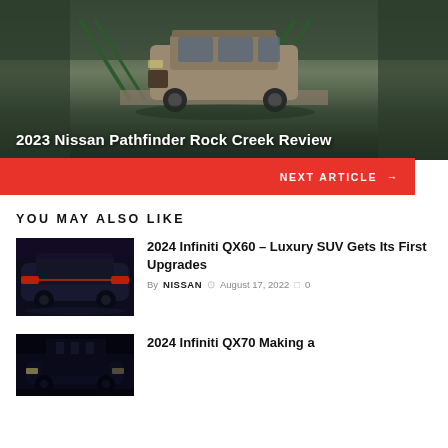[Figure (photo): Aerial view of a tan/bronze Nissan Pathfinder driving over a green metal bridge in a wooded area]
2023 Nissan Pathfinder Rock Creek Review
NEXT ARTICLE →
YOU MAY ALSO LIKE
[Figure (photo): Dark blue/purple luxury SUV (Infiniti QX60) photographed in low light against dark background]
2024 Infiniti QX60 – Luxury SUV Gets Its First Upgrades
By NISSAN  August 17, 2022  0
[Figure (photo): Dark colored Infiniti QX70 photographed at night or in low light]
2024 Infiniti QX70 Making a